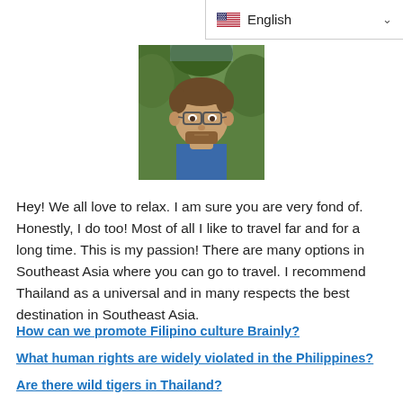English
[Figure (photo): Headshot photo of a man with short brown hair and beard, wearing a blue shirt, outdoors with green trees in background]
Hey! We all love to relax. I am sure you are very fond of. Honestly, I do too! Most of all I like to travel far and for a long time. This is my passion! There are many options in Southeast Asia where you can go to travel. I recommend Thailand as a universal and in many respects the best destination in Southeast Asia.
How can we promote Filipino culture Brainly?
What human rights are widely violated in the Philippines?
Are there wild tigers in Thailand?